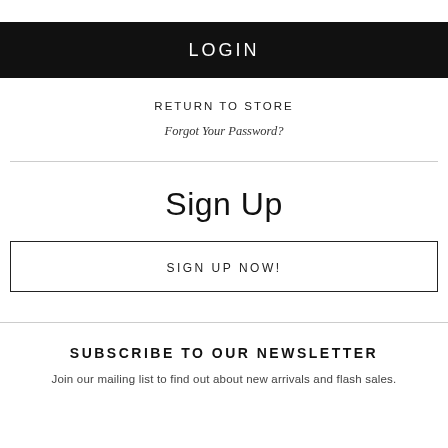LOGIN
RETURN TO STORE
Forgot Your Password?
Sign Up
SIGN UP NOW!
SUBSCRIBE TO OUR NEWSLETTER
Join our mailing list to find out about new arrivals and flash sales.